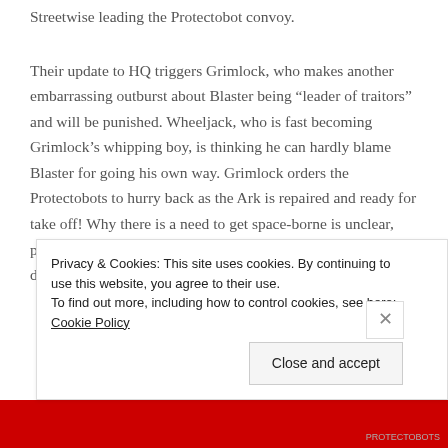Streetwise leading the Protectobot convoy.
Their update to HQ triggers Grimlock, who makes another embarrassing outburst about Blaster being “leader of traitors” and will be punished. Wheeljack, who is fast becoming Grimlock’s whipping boy, is thinking he can hardly blame Blaster for going his own way. Grimlock orders the Protectobots to hurry back as the Ark is repaired and ready for take off! Why there is a need to get space-borne is unclear, particularly as Wheeljack has just constructed a device which draws heat from the volcano in order to supply the Autobots’
Privacy & Cookies: This site uses cookies. By continuing to use this website, you agree to their use.
To find out more, including how to control cookies, see here: Cookie Policy
Close and accept